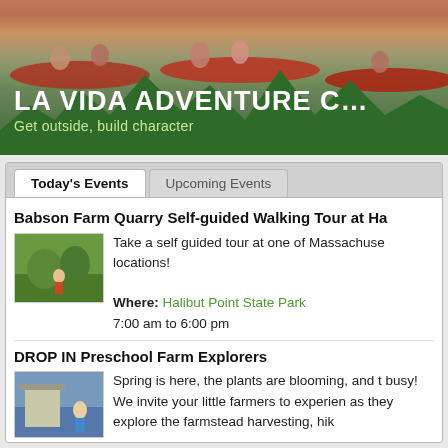[Figure (photo): People kayaking in red kayaks on water, with a green mountain silhouette overlay and La Vida Adventure Camp banner text]
LA VIDA ADVENTURE C
Get outside, build character
Today's Events
Upcoming Events
Babson Farm Quarry Self-guided Walking Tour at Ha
Take a self guided tour at one of Massachuse locations!
Where: Halibut Point State Park
7:00 am to 6:00 pm
DROP IN Preschool Farm Explorers
Spring is here, the plants are blooming, and t busy! We invite your little farmers to experien as they explore the farmstead harvesting, hik